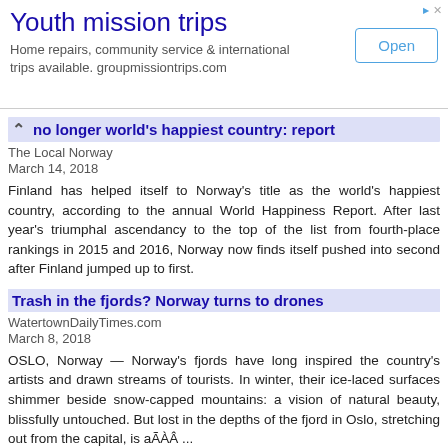[Figure (other): Advertisement banner for Youth mission trips - groupmissiontrips.com with Open button]
no longer world's happiest country: report
The Local Norway
March 14, 2018
Finland has helped itself to Norway’s title as the world's happiest country, according to the annual World Happiness Report. After last year's triumphal ascendancy to the top of the list from fourth-place rankings in 2015 and 2016, Norway now finds itself pushed into second after Finland jumped up to first.
Trash in the fjords? Norway turns to drones
WatertownDailyTimes.com
March 8, 2018
OSLO, Norway — Norway’s fjords have long inspired the country’s artists and drawn streams of tourists. In winter, their ice-laced surfaces shimmer beside snow-capped mountains: a vision of natural beauty, blissfully untouched. But lost in the depths of the fjord in Oslo, stretching out from the capital, is aÃÂ ...
Norway parliament speaker resigns over renov
The Local Norway